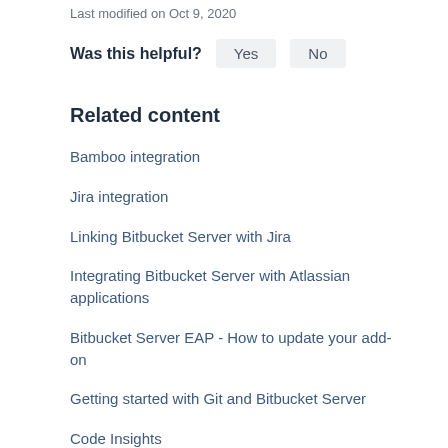Last modified on Oct 9, 2020
Was this helpful?  Yes  No
Related content
Bamboo integration
Jira integration
Linking Bitbucket Server with Jira
Integrating Bitbucket Server with Atlassian applications
Bitbucket Server EAP - How to update your add-on
Getting started with Git and Bitbucket Server
Code Insights